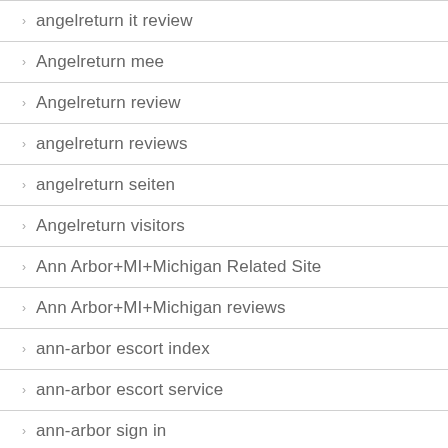angelreturn it review
Angelreturn mee
Angelreturn review
angelreturn reviews
angelreturn seiten
Angelreturn visitors
Ann Arbor+MI+Michigan Related Site
Ann Arbor+MI+Michigan reviews
ann-arbor escort index
ann-arbor escort service
ann-arbor sign in
anonymous tinder reviews